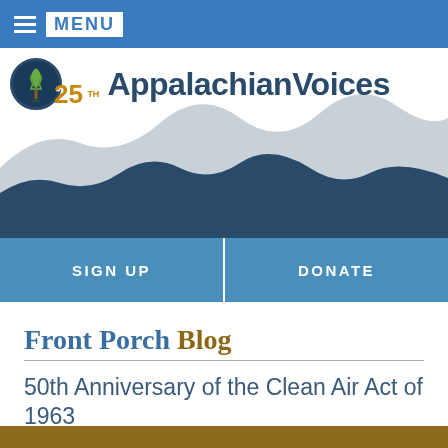≡ MENU
[Figure (logo): Appalachian Voices logo with tree and '25' anniversary badge, with mountain silhouette background in blue/grey tones]
SIGN UP
DONATE
Front Porch Blog
50th Anniversary of the Clean Air Act of 1963
By Kimber Ray | December 18, 2013